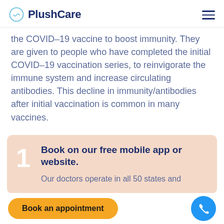PlushCare
the COVID-19 vaccine to boost immunity. They are given to people who have completed the initial COVID-19 vaccination series, to reinvigorate the immune system and increase circulating antibodies. This decline in immunity/antibodies after initial vaccination is common in many vaccines.
1 Book on our free mobile app or website. Our doctors operate in all 50 states and
Book an appointment